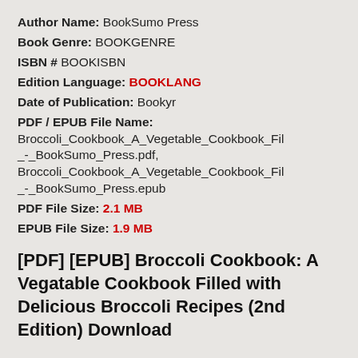Author Name: BookSumo Press
Book Genre: BOOKGENRE
ISBN # BOOKISBN
Edition Language: BOOKLANG
Date of Publication: Bookyr
PDF / EPUB File Name: Broccoli_Cookbook_A_Vegetable_Cookbook_Fil_-_BookSumo_Press.pdf, Broccoli_Cookbook_A_Vegetable_Cookbook_Fil_-_BookSumo_Press.epub
PDF File Size: 2.1 MB
EPUB File Size: 1.9 MB
[PDF] [EPUB] Broccoli Cookbook: A Vegatable Cookbook Filled with Delicious Broccoli Recipes (2nd Edition) Download